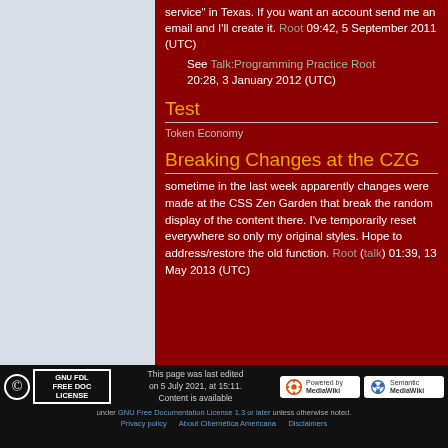service" in Texas. If you want an account send me an email and I'll create it. Root 09:42, 5 September 2011 (UTC)
See Talk:Programming Practice Root 20:28, 3 January 2012 (UTC)
Test
Token Economy
Breaking Changes at the CZG
sometime in the last week apparently changes were made at the CSS Zen Garden that break the random display of the content there. I've temporarily reset everywhere so only my original styles. Hope to address/restore the old function. Root (talk) 01:39, 13 May 2013 (UTC)
This page was last edited on 5 July 2021, at 15:11. Content is available under GNU Free Documentation License 1.3 or later unless otherwise noted. Privacy policy   About Cibernética Americana   Disclaimers